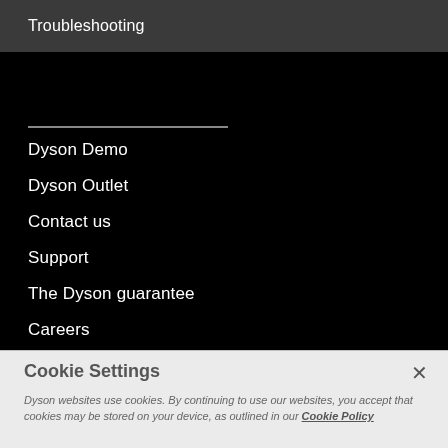Troubleshooting
Dyson Demo
Dyson Outlet
Contact us
Support
The Dyson guarantee
Careers
Newsroom
Cookie Settings
Dyson websites use cookies. By continuing to use our websites, you accept that cookies may be stored on your device, as outlined in our Cookie Policy